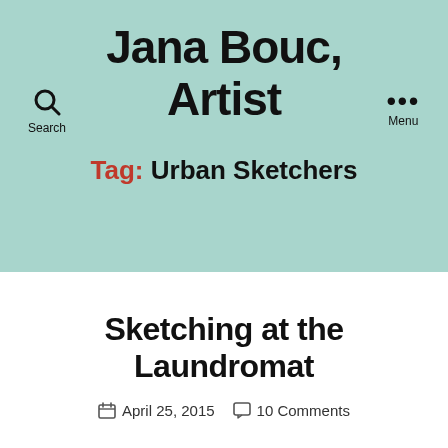Jana Bouc, Artist
Tag: Urban Sketchers
Sketching at the Laundromat
April 25, 2015  10 Comments